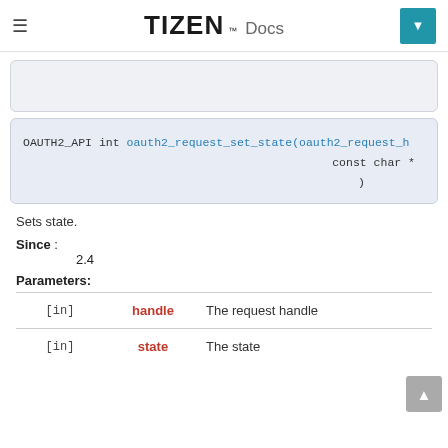TIZEN™ Docs
[Figure (other): Partial grey box (search or navigation element, cut off at top)]
Sets state.
Since : 2.4
Parameters:
|  |  |  |
| --- | --- | --- |
| [in] | handle | The request handle |
| [in] | state | The state |